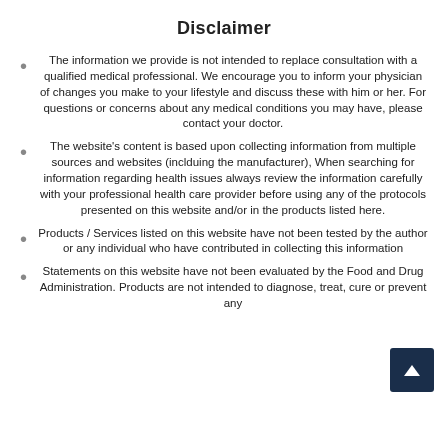Disclaimer
The information we provide is not intended to replace consultation with a qualified medical professional. We encourage you to inform your physician of changes you make to your lifestyle and discuss these with him or her. For questions or concerns about any medical conditions you may have, please contact your doctor.
The website's content is based upon collecting information from multiple sources and websites (inclduing the manufacturer), When searching for information regarding health issues always review the information carefully with your professional health care provider before using any of the protocols presented on this website and/or in the products listed here.
Products / Services listed on this website have not been tested by the author or any individual who have contributed in collecting this information
Statements on this website have not been evaluated by the Food and Drug Administration. Products are not intended to diagnose, treat, cure or prevent any